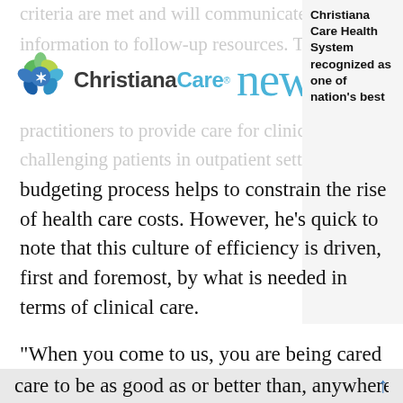[Figure (logo): ChristianaCare news logo with colorful flower/asterisk icon, bold ChristianaCare text, and 'news' in light blue serif font]
Christiana Care Health System recognized as one of nation's best
budgeting process helps to constrain the rise of health care costs. However, he’s quick to note that this culture of efficiency is driven, first and foremost, by what is needed in terms of clinical care.
“When you come to us, you are being cared for by a very high-performing organization as measured by an independent party,” Corrigan said. “Our patients can expect their clinical care to be as good as or better than, anywhere